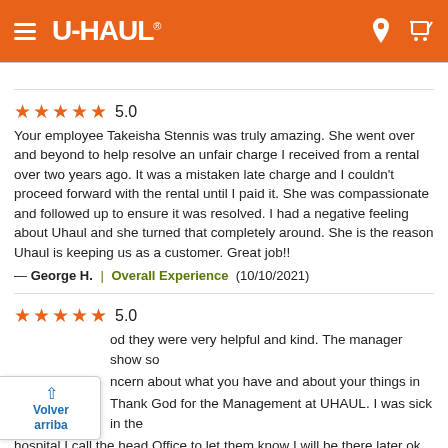U-HAUL
★★★★★ 5.0
Your employee Takeisha Stennis was truly amazing. She went over and beyond to help resolve an unfair charge I received from a rental over two years ago. It was a mistaken late charge and I couldn't proceed forward with the rental until I paid it. She was compassionate and followed up to ensure it was resolved. I had a negative feeling about Uhaul and she turned that completely around. She is the reason Uhaul is keeping us as a customer. Great job!!
— George H. | Overall Experience (10/10/2021)
★★★★★ 5.0
...od they were very helpful and kind. The manager show so ...ncern about what you have and about your things in ...Thank God for the Management at UHAUL. I was sick in the hospital I call the head Office to let them know I will be there later ok